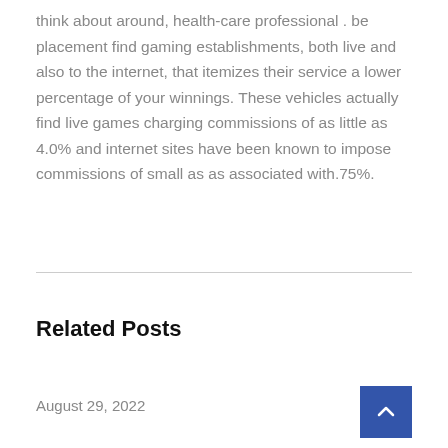think about around, health-care professional . be placement find gaming establishments, both live and also to the internet, that itemizes their service a lower percentage of your winnings. These vehicles actually find live games charging commissions of as little as 4.0% and internet sites have been known to impose commissions of small as as associated with.75%.
Related Posts
August 29, 2022